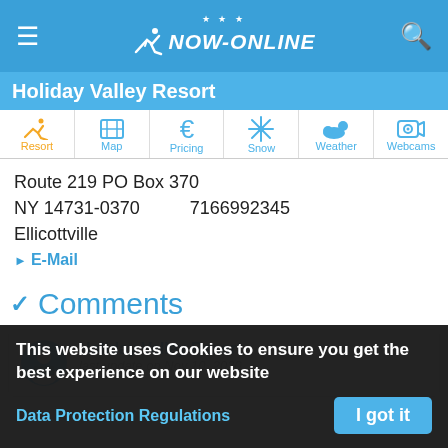NOW-ONLINE
Holiday Valley Resort
[Figure (infographic): Navigation tab bar with icons for Resort, Map, Pricing, Snow, Weather, Webcams]
Route 219 PO Box 370
NY 14731-0370
Ellicottville
7166992345
▶ E-Mail
❯ Comments
Holiday Valley Resort
last update on Nov 10, 2020
This website uses Cookies to ensure you get the best experience on our website
Data Protection Regulations
I got it